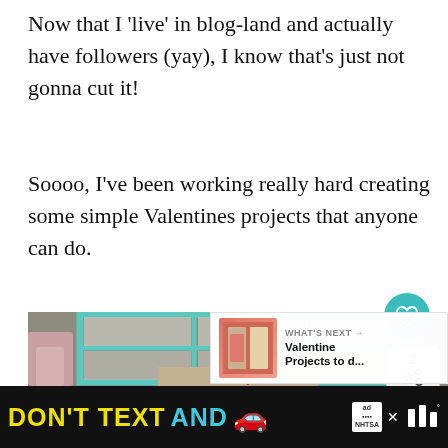Now that I 'live' in blog-land and actually have followers (yay), I know that's just not gonna cut it!
Soooo, I've been working really hard creating some simple Valentines projects that anyone can do.
[Figure (photo): A Valentine's Day decorative scene showing a teal/turquoise old window frame with lace-patterned panels, a pink candle arrangement on the left, and a red heart on a wood board at the bottom center. A 'What's Next' overlay in the bottom right shows Valentine Projects. UI buttons including a heart/like button and share button (count: 2) are overlaid on the right side.]
DON'T TEXT AND [car emoji] ad NHTSA